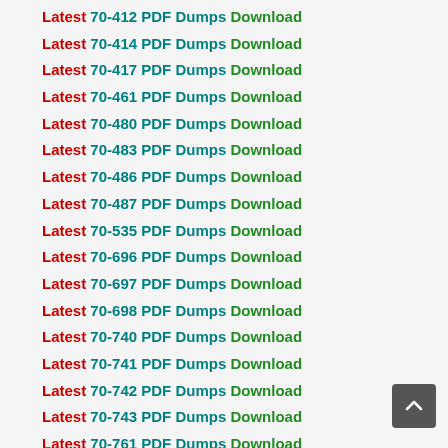Latest 70-412 PDF Dumps Download
Latest 70-414 PDF Dumps Download
Latest 70-417 PDF Dumps Download
Latest 70-461 PDF Dumps Download
Latest 70-480 PDF Dumps Download
Latest 70-483 PDF Dumps Download
Latest 70-486 PDF Dumps Download
Latest 70-487 PDF Dumps Download
Latest 70-535 PDF Dumps Download
Latest 70-696 PDF Dumps Download
Latest 70-697 PDF Dumps Download
Latest 70-698 PDF Dumps Download
Latest 70-740 PDF Dumps Download
Latest 70-741 PDF Dumps Download
Latest 70-742 PDF Dumps Download
Latest 70-743 PDF Dumps Download
Latest 70-761 PDF Dumps Download
Latest 70-764 PDF Dumps Download
Latest 70-765 PDF Dumps Download
Latest 70-767 PDF Dumps Download
Latest 70-768 PDF Dumps Download
Latest 70-778 PDF Dumps Download